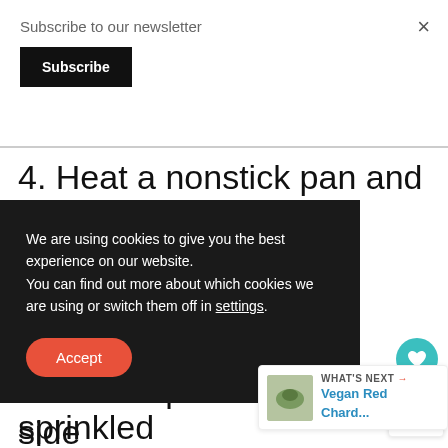Subscribe to our newsletter
Subscribe
×
4. Heat a nonstick pan and ... the pan ... t ... arts t ... brown. Flip on the other side and cook again until br...
We are using cookies to give you the best experience on our website.
You can find out more about which cookies we are using or switch them off in settings.
Accept
18
WHAT'S NEXT → Vegan Red Chard...
5. Serve warm with sprinkled